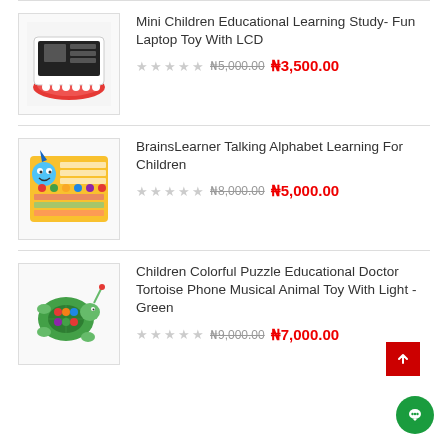[Figure (photo): Mini Children Educational Learning Study laptop toy with LCD - red and white toy laptop]
Mini Children Educational Learning Study- Fun Laptop Toy With LCD
₦5,000.00 ₦3,500.00
[Figure (photo): BrainsLearner Talking Alphabet Learning For Children - yellow board with cartoon character]
BrainsLearner Talking Alphabet Learning For Children
₦8,000.00 ₦5,000.00
[Figure (photo): Children Colorful Puzzle Educational Doctor Tortoise Phone Musical Animal Toy With Light - Green]
Children Colorful Puzzle Educational Doctor Tortoise Phone Musical Animal Toy With Light - Green
₦9,000.00 ₦7,000.00